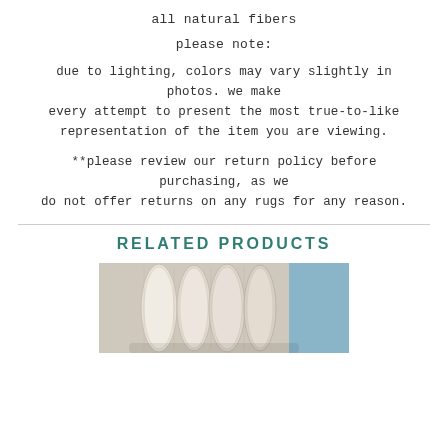all natural fibers
please note:
due to lighting, colors may vary slightly in photos. we make every attempt to present the most true-to-like representation of the item you are viewing.
**please review our return policy before purchasing, as we do not offer returns on any rugs for any reason.
RELATED PRODUCTS
[Figure (photo): Photo of rolled or folded rugs/textiles in light neutral tones displayed together]